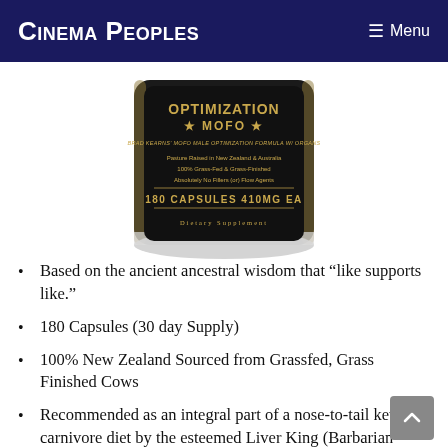Cinema Peoples  ☰ Menu
[Figure (photo): Product photo of a dark supplement bottle with gold text reading 'OPTIMIZATION * MOFO *', MOFO Male Optimization Formula w/ Organs, Pasture Raised in New Zealand & Australia, 100% Grass-Fed & Grass-Finished, Absolutely No Fillers or Flow Agents, 180 Capsules 410MG EA, Dietary Supplement]
Based on the ancient ancestral wisdom that “like supports like.”
180 Capsules (30 day Supply)
100% New Zealand Sourced from Grassfed, Grass Finished Cows
Recommended as an integral part of a nose-to-tail keto or carnivore diet by the esteemed Liver King (Barbarian World Record Holder)